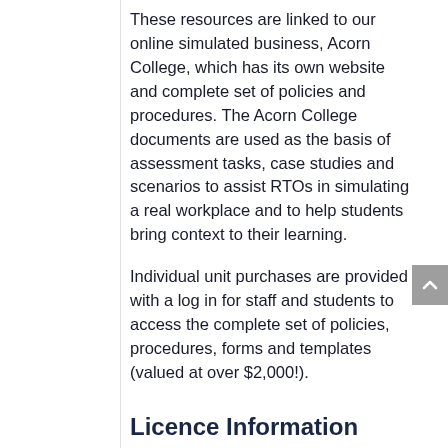These resources are linked to our online simulated business, Acorn College, which has its own website and complete set of policies and procedures. The Acorn College documents are used as the basis of assessment tasks, case studies and scenarios to assist RTOs in simulating a real workplace and to help students bring context to their learning.
Individual unit purchases are provided with a log in for staff and students to access the complete set of policies, procedures, forms and templates (valued at over $2,000!).
Licence Information
These resources are sold under the terms of our Licence Agreement. Read our Licence Agreement.